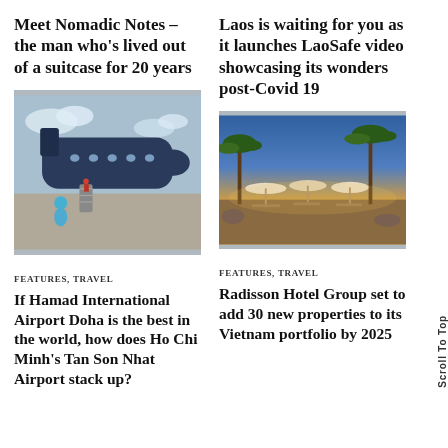Meet Nomadic Notes – the man who's lived out of a suitcase for 20 years
Laos is waiting for you as it launches LaoSafe video showcasing its wonders post-Covid 19
[Figure (photo): Person with blue umbrella boarding a plane on tarmac]
[Figure (photo): Outdoor resort area with palm trees, umbrellas/sunshades, and seating at sunset]
FEATURES, TRAVEL
FEATURES, TRAVEL
If Hamad International Airport Doha is the best in the world, how does Ho Chi Minh's Tan Son Nhat Airport stack up?
Radisson Hotel Group set to add 30 new properties to its Vietnam portfolio by 2025
Scroll To Top